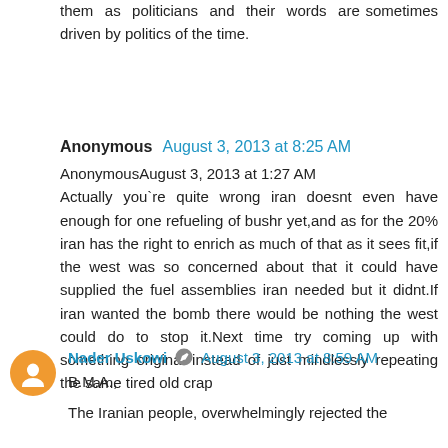them as politicians and their words are sometimes driven by politics of the time.
Anonymous  August 3, 2013 at 8:25 AM
AnonymousAugust 3, 2013 at 1:27 AM
Actually you`re quite wrong iran doesnt even have enough for one refueling of bushr yet,and as for the 20% iran has the right to enrich as much of that as it sees fit,if the west was so concerned about that it could have supplied the fuel assemblies iran needed but it didnt.If iran wanted the bomb there would be nothing the west could do to stop it.Next time try coming up with something original instead of just mindlessly repeating the same tired old crap
Nader Uskowi  August 3, 2013 at 8:59 AM
B.M.A.,
The Iranian people, overwhelmingly rejected the